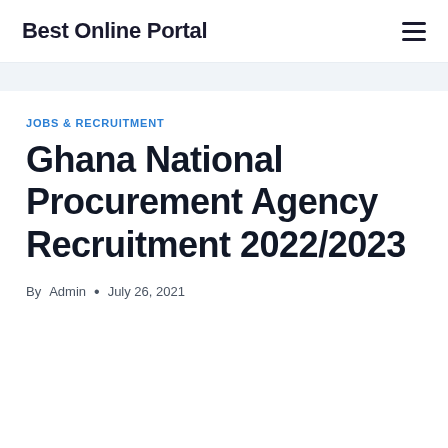Best Online Portal
JOBS & RECRUITMENT
Ghana National Procurement Agency Recruitment 2022/2023
By Admin • July 26, 2021